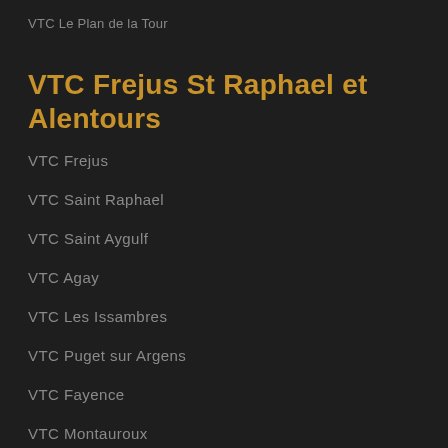VTC Le Plan de la Tour
VTC Frejus St Raphael et Alentours
VTC Frejus
VTC Saint Raphael
VTC Saint Aygulf
VTC Agay
VTC Les Issambres
VTC Puget sur Argens
VTC Fayence
VTC Montauroux
VTC Les Arcs